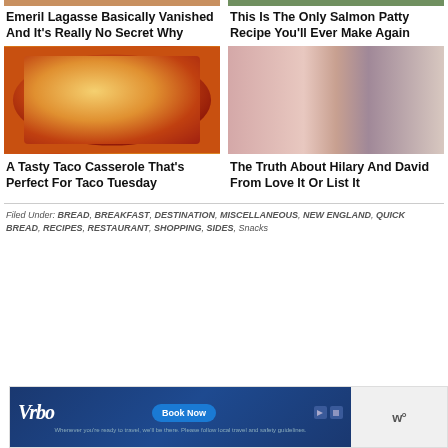[Figure (photo): Top strip showing partial images of food and greenery]
Emeril Lagasse Basically Vanished And It's Really No Secret Why
This Is The Only Salmon Patty Recipe You'll Ever Make Again
[Figure (photo): A tasty taco casserole dish with melted cheese and cilantro]
[Figure (photo): Hilary and David from Love It Or List It posing together]
A Tasty Taco Casserole That's Perfect For Taco Tuesday
The Truth About Hilary And David From Love It Or List It
Filed Under: BREAD, BREAKFAST, DESTINATION, MISCELLANEOUS, NEW ENGLAND, QUICK BREAD, RECIPES, RESTAURANT, SHOPPING, SIDES, Snacks
[Figure (screenshot): Vrbo advertisement banner with Book Now button]